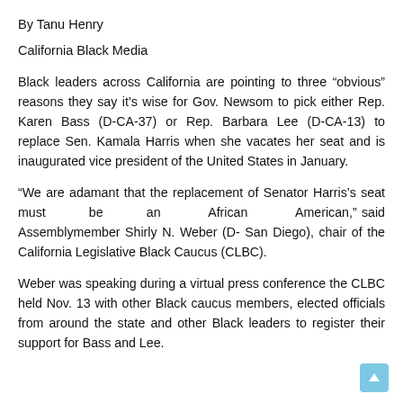By Tanu Henry
California Black Media
Black leaders across California are pointing to three “obvious” reasons they say it’s wise for Gov. Newsom to pick either Rep. Karen Bass (D-CA-37) or Rep. Barbara Lee (D-CA-13) to replace Sen. Kamala Harris when she vacates her seat and is inaugurated vice president of the United States in January.
“We are adamant that the replacement of Senator Harris’s seat must be an African American,” said Assemblymember Shirly N. Weber (D- San Diego), chair of the California Legislative Black Caucus (CLBC).
Weber was speaking during a virtual press conference the CLBC held Nov. 13 with other Black caucus members, elected officials from around the state and other Black leaders to register their support for Bass and Lee.